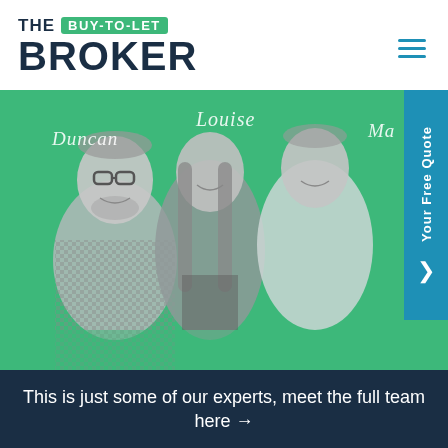THE BUY-TO-LET BROKER
[Figure (photo): Three smiling professionals (Duncan, Louise, and Mark) shown in black-and-white against a green background, with cursive name labels above each person. A blue side tab reads 'Your Free Quote' with a right-arrow chevron.]
This is just some of our experts, meet the full team here →